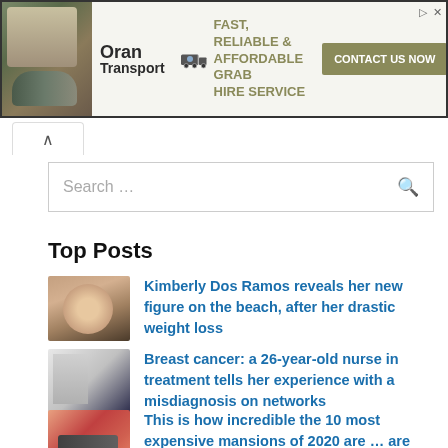[Figure (other): Advertisement banner for Oran Transport featuring a truck logo, text 'FAST, RELIABLE & AFFORDABLE GRAB HIRE SERVICE', and a 'CONTACT US NOW' button. Background shows heavy machinery photo.]
Search ...
Top Posts
[Figure (photo): Thumbnail of a woman with reddish-brown hair]
Kimberly Dos Ramos reveals her new figure on the beach, after her drastic weight loss
[Figure (photo): Thumbnail of a person in a medical/studio setting]
Breast cancer: a 26-year-old nurse in treatment tells her experience with a misdiagnosis on networks
[Figure (photo): Thumbnail of a man seated on a red couch]
This is how incredible the 10 most expensive mansions of 2020 are ... are several famous?